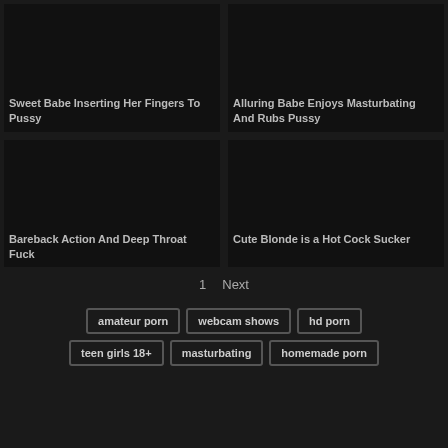[Figure (screenshot): Dark thumbnail placeholder for video]
Sweet Babe Inserting Her Fingers To Pussy
[Figure (screenshot): Dark thumbnail placeholder for video]
Alluring Babe Enjoys Masturbating And Rubs Pussy
[Figure (screenshot): Dark thumbnail placeholder for video]
Bareback Action And Deep Throat Fuck
[Figure (screenshot): Dark thumbnail placeholder for video]
Cute Blonde is a Hot Cock Sucker
1  Next
amateur porn
webcam shows
hd porn
teen girls 18+
masturbating
homemade porn